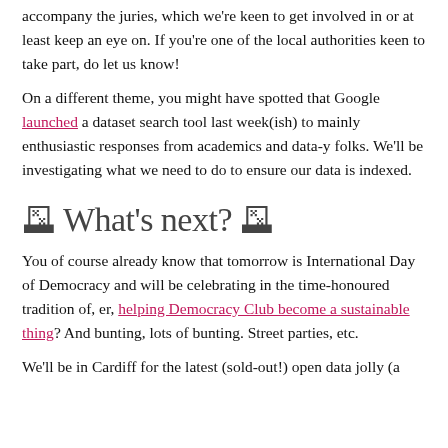accompany the juries, which we're keen to get involved in or at least keep an eye on. If you're one of the local authorities keen to take part, do let us know!
On a different theme, you might have spotted that Google launched a dataset search tool last week(ish) to mainly enthusiastic responses from academics and data-y folks. We'll be investigating what we need to do to ensure our data is indexed.
🗳 What's next? 🗳
You of course already know that tomorrow is International Day of Democracy and will be celebrating in the time-honoured tradition of, er, helping Democracy Club become a sustainable thing? And bunting, lots of bunting. Street parties, etc.
We'll be in Cardiff for the latest (sold-out!) open data jolly (a